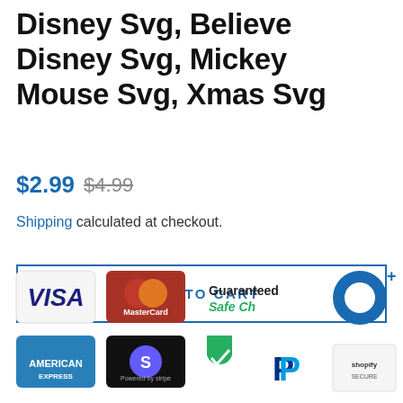Disney Svg, Believe Disney Svg, Mickey Mouse Svg, Xmas Svg
$2.99  $4.99
Shipping calculated at checkout.
ADD TO CART
[Figure (infographic): Payment method icons: Visa, MasterCard, American Express, Stripe, and Guaranteed Safe Checkout badge with PayPal and Shopify Secure logos]